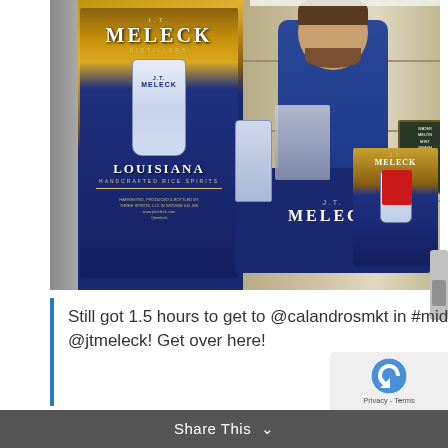[Figure (photo): A man in a navy blue polo shirt standing behind a promotional table draped with a navy J.T. Meleck tablecloth in a liquor store. A large J.T. Meleck Distillers banner stands to the left showing 'LOUISIANA HANDCRAFTED RICE SPIRITS'. Products and promotional materials are on the table. Store shelves stocked with bottles are visible in the background.]
Still got 1.5 hours to get to @calandrosmkt in #midcity and taste you some awesome #lamade #vodka from @jtmeleck! Get over here!
Share This